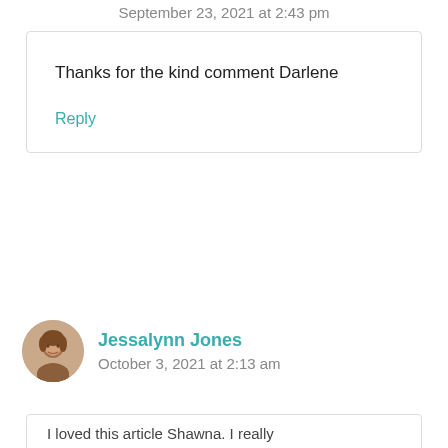September 23, 2021 at 2:43 pm
Thanks for the kind comment Darlene
Reply
Jessalynn Jones
October 3, 2021 at 2:13 am
I loved this article Shawna. I really